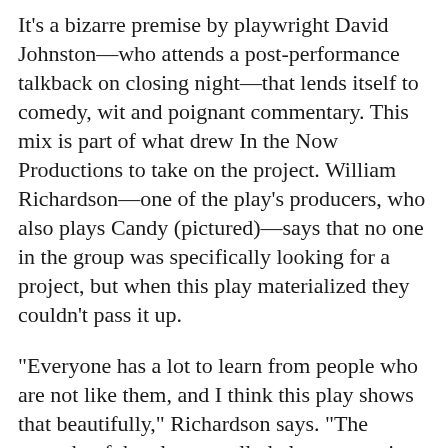It's a bizarre premise by playwright David Johnston—who attends a post-performance talkback on closing night—that lends itself to comedy, wit and poignant commentary. This mix is part of what drew In the Now Productions to take on the project. William Richardson—one of the play's producers, who also plays Candy (pictured)—says that no one in the group was specifically looking for a project, but when this play materialized they couldn't pass it up.
"Everyone has a lot to learn from people who are not like them, and I think this play shows that beautifully," Richardson says. "The comedy of the play actually helps ease us into some deeper truths that we might not have found otherwise." (Kylee Ehmann)